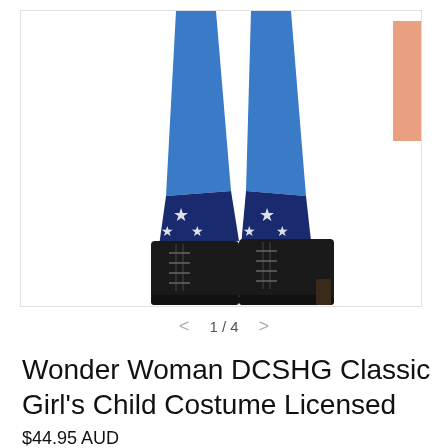[Figure (photo): Product photo showing legs of a child wearing Wonder Woman DCSHG costume with blue and navy star-patterned leggings and black lace-up combat boots. A partial thumbnail of another image is visible on the right edge.]
< 1 / 4 >
Wonder Woman DCSHG Classic Girl's Child Costume Licensed
$44.95 AUD